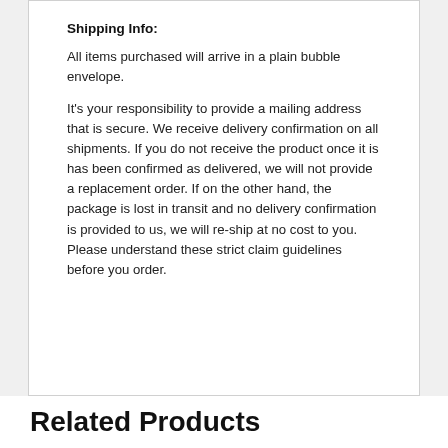Shipping Info:
All items purchased will arrive in a plain bubble envelope.
It's your responsibility to provide a mailing address that is secure. We receive delivery confirmation on all shipments. If you do not receive the product once it is has been confirmed as delivered, we will not provide a replacement order. If on the other hand, the package is lost in transit and no delivery confirmation is provided to us, we will re-ship at no cost to you. Please understand these strict claim guidelines before you order.
Related Products